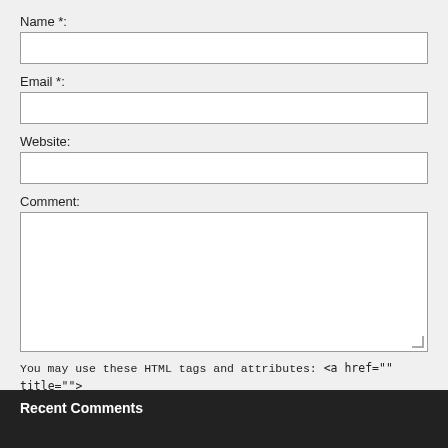Name *:
Email *:
Website:
Comment:
You may use these HTML tags and attributes: <a href="" title=""> <abbr title=""> <acronym title=""> <b> <blockquote cite=""> <cite> <code> <del datetime=""> <em> <i> <q cite=""> <strike> <strong>
Add comment
Recent Comments